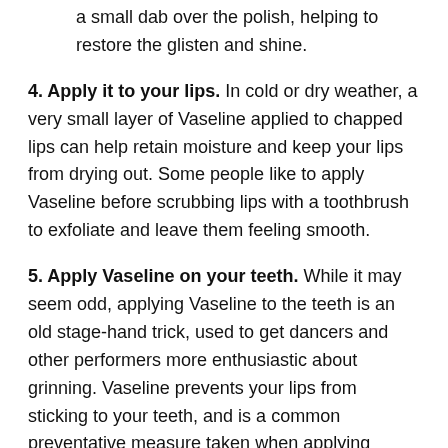a small dab over the polish, helping to restore the glisten and shine.
4. Apply it to your lips. In cold or dry weather, a very small layer of Vaseline applied to chapped lips can help retain moisture and keep your lips from drying out. Some people like to apply Vaseline before scrubbing lips with a toothbrush to exfoliate and leave them feeling smooth.
5. Apply Vaseline on your teeth. While it may seem odd, applying Vaseline to the teeth is an old stage-hand trick, used to get dancers and other performers more enthusiastic about grinning. Vaseline prevents your lips from sticking to your teeth, and is a common preventative measure taken when applying lipstick. Done correctly, Vaseline can help avoid getting lipstick on the teeth.